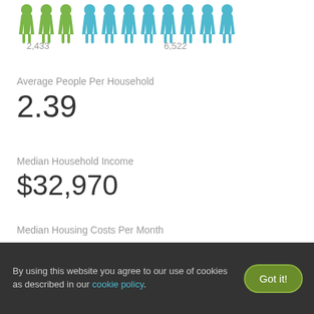[Figure (infographic): Row of person icons: 3 green figures on the left representing 2,433 people, and 8 blue figures on the right representing 6,522 people. Labels 2,433 and 6,522 appear below.]
Average People Per Household
2.39
Median Household Income
$32,970
Median Housing Costs Per Month
$677
By using this website you agree to our use of cookies as described in our cookie policy.
Got it!